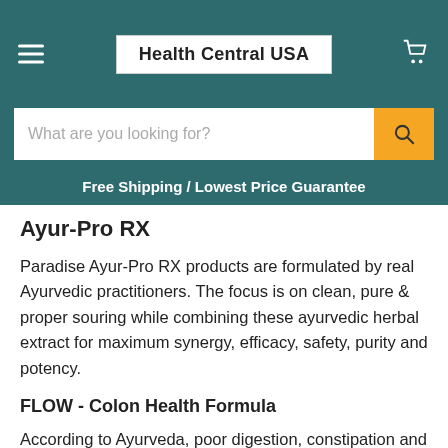Health Central USA
What are you looking for?
Free Shipping / Lowest Price Guarantee
Ayur-Pro RX
Paradise Ayur-Pro RX products are formulated by real Ayurvedic practitioners. The focus is on clean, pure & proper souring while combining these ayurvedic herbal extract for maximum synergy, efficacy, safety, purity and potency.
FLOW - Colon Health Formula
According to Ayurveda, poor digestion, constipation and bloating are common imbalances of a sluggish colon associated with low angi (digestive fire). Our premium quality Ayurvedic Cleanse formula contains super potent extracts of Triphala and